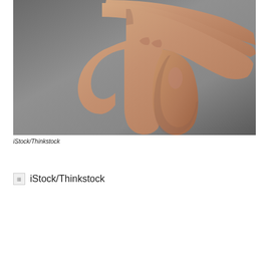[Figure (photo): A hand giving a thumbs down gesture against a grey background]
iStock/Thinkstock
[Figure (photo): A second image (broken/placeholder) with caption iStock/Thinkstock]
iStock/Thinkstock